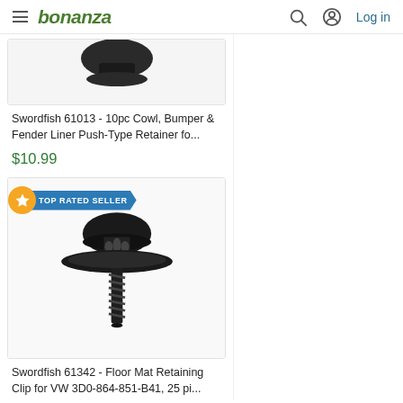bonanza | Log in
[Figure (photo): Partial product image of a push-type retainer clip (cropped at top of page)]
Swordfish 61013 - 10pc Cowl, Bumper & Fender Liner Push-Type Retainer fo...
$10.99
[Figure (photo): Black plastic floor mat retaining clip for VW, with mushroom-shaped cap, flat flange, and screw-type anchor pin. TOP RATED SELLER badge shown.]
Swordfish 61342 - Floor Mat Retaining Clip for VW 3D0-864-851-B41, 25 pi...